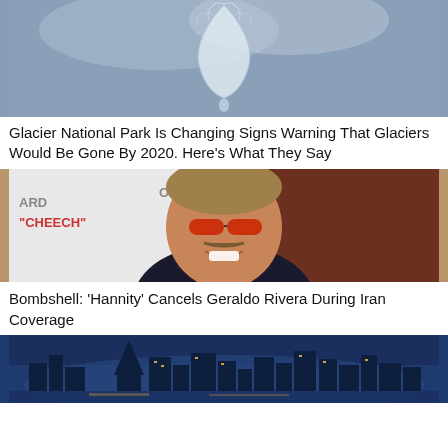[Figure (photo): Photo of water droplet or ice formation against grey sky background]
Glacier National Park Is Changing Signs Warning That Glaciers Would Be Gone By 2020. Here's What They Say
[Figure (photo): Photo of Geraldo Rivera smiling with red-tinted sunglasses at an event, text visible behind him reading 'THE T' and 'CHEECH']
Bombshell: 'Hannity' Cancels Geraldo Rivera During Iran Coverage
[Figure (photo): Photo of a city skyline at dusk/night, appears to be San Francisco]